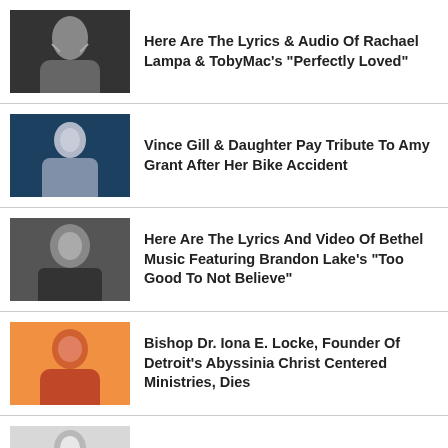Here Are The Lyrics & Audio Of Rachael Lampa & TobyMac's "Perfectly Loved"
Vince Gill & Daughter Pay Tribute To Amy Grant After Her Bike Accident
Here Are The Lyrics And Video Of Bethel Music Featuring Brandon Lake's "Too Good To Not Believe"
Bishop Dr. Iona E. Locke, Founder Of Detroit's Abyssinia Christ Centered Ministries, Dies
Is Taylor Swift A Christian?